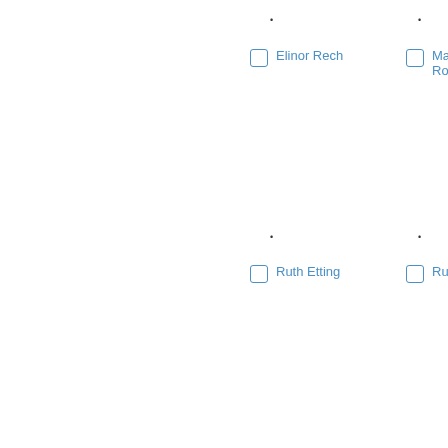• Elinor Rech
• Ma... Ron...
• Ruth Etting
• Rut...